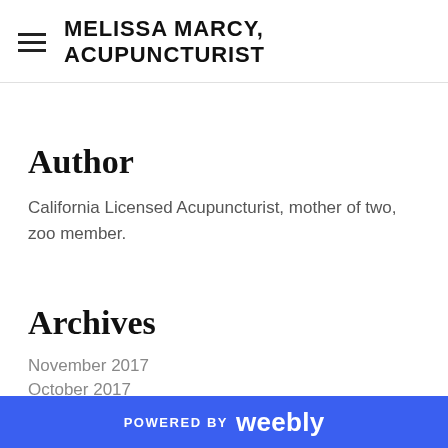MELISSA MARCY, ACUPUNCTURIST
Author
California Licensed Acupuncturist, mother of two, zoo member.
Archives
November 2017
October 2017
POWERED BY weebly